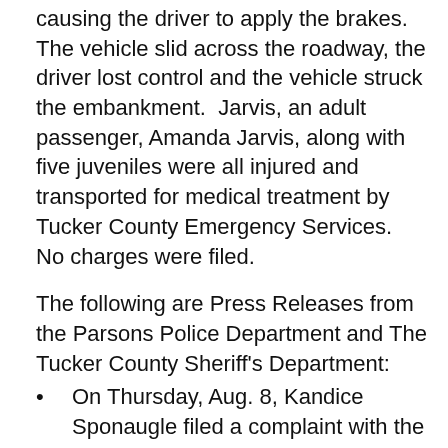causing the driver to apply the brakes.  The vehicle slid across the roadway, the driver lost control and the vehicle struck the embankment.  Jarvis, an adult passenger, Amanda Jarvis, along with five juveniles were all injured and transported for medical treatment by Tucker County Emergency Services.  No charges were filed.
The following are Press Releases from the Parsons Police Department and The Tucker County Sheriff's Department:
On Thursday, Aug. 8, Kandice Sponaugle filed a complaint with the Parsons Police Department against Cody Alan Bulford for Telephone Harassment.  Parsons Police Chief, J.E. Jones, took the case before Magistrate Carol Irons and probable cause was found to issue a warrant for Bulford's arrest.  He was located at 409 Main Street and taken before Magistrate Irons who released him on a $500 PR bond.  It was also stated that he have no contact with Sponaugle until his hearing date, which is to